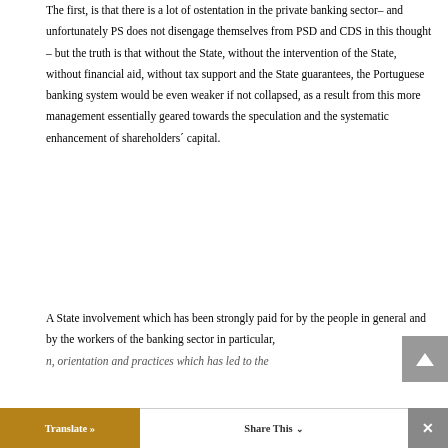The first, is that there is a lot of ostentation in the private banking sector– and unfortunately PS does not disengage themselves from PSD and CDS in this thought – but the truth is that without the State, without the intervention of the State, without financial aid, without tax support and the State guarantees, the Portuguese banking system would be even weaker if not collapsed, as a result from this more management essentially geared towards the speculation and the systematic enhancement of shareholders´ capital.
A State involvement which has been strongly paid for by the people in general and by the workers of the banking sector in particular, ...n, orientation and practices which has led to the
Translate »   Share This ∨   ✕